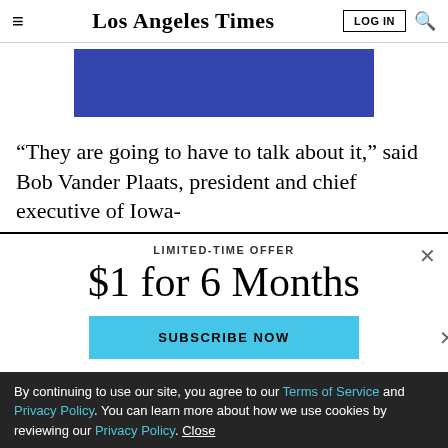Los Angeles Times
[Figure (other): Blue advertisement banner rectangle]
“They are going to have to talk about it,” said Bob Vander Plaats, president and chief executive of Iowa-
LIMITED-TIME OFFER
$1 for 6 Months
SUBSCRIBE NOW
By continuing to use our site, you agree to our Terms of Service and Privacy Policy. You can learn more about how we use cookies by reviewing our Privacy Policy. Close